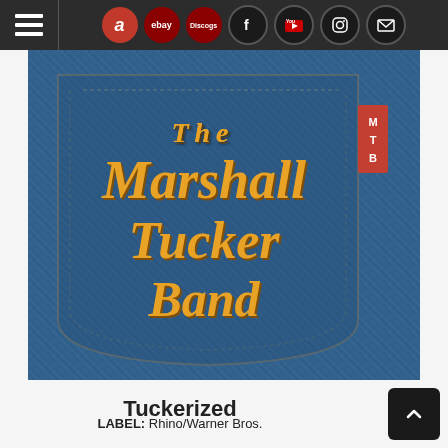Navigation bar with hamburger menu and social/store icons: Amazon, eBay, Discogs, Facebook, YouTube, Instagram, Email
[Figure (photo): Photograph of a denim jeans pocket with an embroidered patch reading 'The Marshall Tucker Band' in ornate golden/yellow lettering. A small red MTB tag is visible on the right side of the pocket.]
Tuckerized
LABEL: Rhino/Warner Bros.